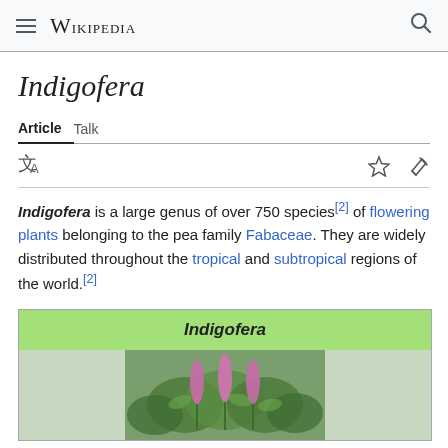Wikipedia
Indigofera
Article   Talk
Indigofera is a large genus of over 750 species[2] of flowering plants belonging to the pea family Fabaceae. They are widely distributed throughout the tropical and subtropical regions of the world.[2]
Indigofera
[Figure (photo): Photograph of Indigofera plant with pink/purple flowering spikes and green feathery leaves]